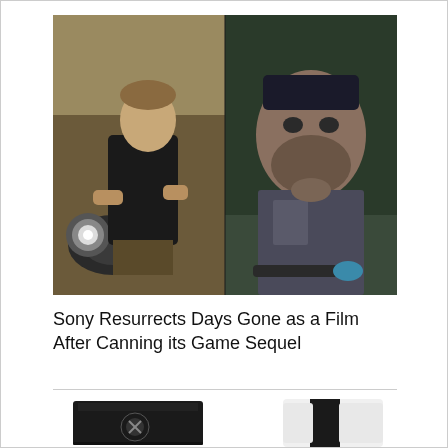[Figure (photo): Side-by-side comparison: left shows a real man on a motorcycle wearing a black leather jacket; right shows a video game character (Deacon St. John from Days Gone) on a motorcycle wearing a gray vest.]
Sony Resurrects Days Gone as a Film After Canning its Game Sequel
[Figure (photo): Two gaming consoles shown side by side: Xbox Series X (black monolith) on the left and PlayStation 5 (white with black accents) on the right, partially visible.]